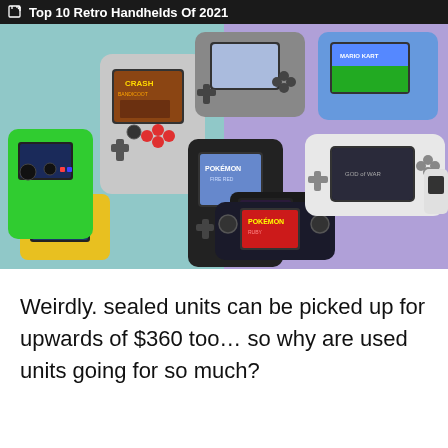Top 10 Retro Handhelds Of 2021
[Figure (photo): A collection of various retro handheld gaming devices arranged on a colorful background (light blue and purple), displaying screens with classic games including Crash Bandicoot, Pokemon, Mario Kart, and God of War among others. The handhelds vary in color including gray, green, yellow, white, blue, and black.]
Weirdly. sealed units can be picked up for upwards of $360 too… so why are used units going for so much?